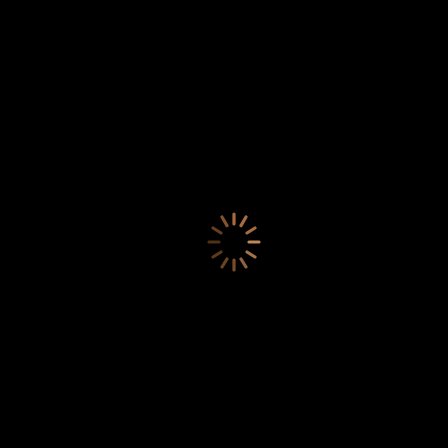[Figure (other): A loading spinner icon with radial tick marks in warm brown/tan tones on a black background, centered slightly right of middle and below center.]